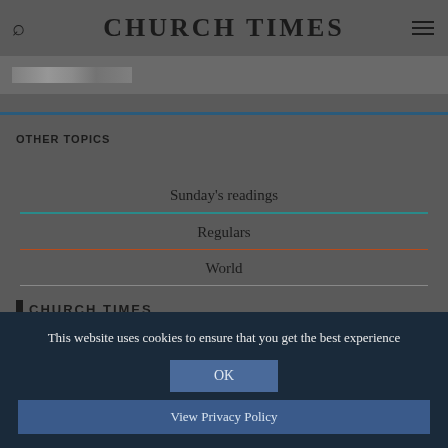CHURCH TIMES
[Figure (photo): Thumbnail image of an article]
OTHER TOPICS
Sunday's readings
Regulars
World
CHURCH TIMES
This website uses cookies to ensure that you get the best experience
OK
View Privacy Policy